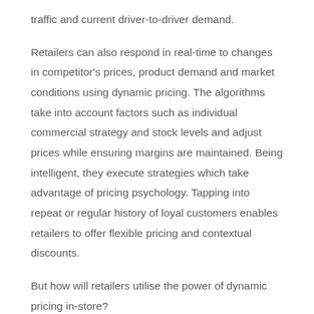traffic and current driver-to-driver demand.
Retailers can also respond in real-time to changes in competitor's prices, product demand and market conditions using dynamic pricing. The algorithms take into account factors such as individual commercial strategy and stock levels and adjust prices while ensuring margins are maintained. Being intelligent, they execute strategies which take advantage of pricing psychology. Tapping into repeat or regular history of loyal customers enables retailers to offer flexible pricing and contextual discounts.
But how will retailers utilise the power of dynamic pricing in-store?
Manually changing prices on each stock item will not cut it. There will be a move to dynamic digital signage and smart shelves